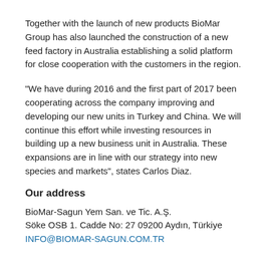Together with the launch of new products BioMar Group has also launched the construction of a new feed factory in Australia establishing a solid platform for close cooperation with the customers in the region.
"We have during 2016 and the first part of 2017 been cooperating across the company improving and developing our new units in Turkey and China. We will continue this effort while investing resources in building up a new business unit in Australia. These expansions are in line with our strategy into new species and markets", states Carlos Diaz.
Our address
BioMar-Sagun Yem San. ve Tic. A.Ş.
Söke OSB 1. Cadde No: 27 09200 Aydın, Türkiye
INFO@BIOMAR-SAGUN.COM.TR